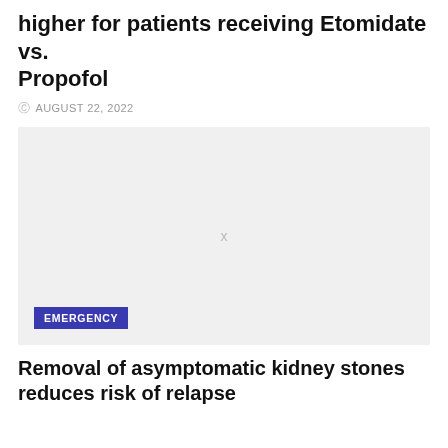higher for patients receiving Etomidate vs. Propofol
AUGUST 22, 2022
[Figure (photo): Placeholder image area with light gray background and an X mark in the center, with an 'EMERGENCY' badge in the lower left corner.]
Removal of asymptomatic kidney stones reduces risk of relapse